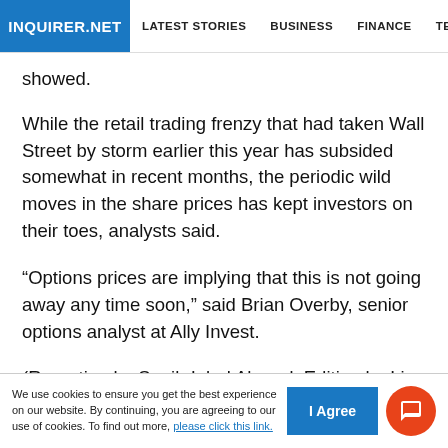INQUIRER.NET | LATEST STORIES | BUSINESS | FINANCE | TECHNOLO...
showed.
While the retail trading frenzy that had taken Wall Street by storm earlier this year has subsided somewhat in recent months, the periodic wild moves in the share prices has kept investors on their toes, analysts said.
“Options prices are implying that this is not going away any time soon,” said Brian Overby, senior options analyst at Ally Invest.
(Reporting by Saqib Iqbal Ahmed; Editing by Lisa
We use cookies to ensure you get the best experience on our website. By continuing, you are agreeing to our use of cookies. To find out more, please click this link.